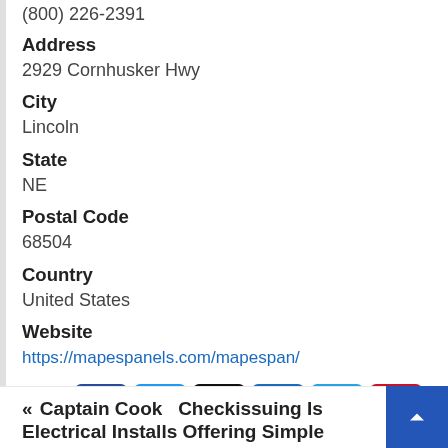(800) 226-2391
Address
2929 Cornhusker Hwy
City
Lincoln
State
NE
Postal Code
68504
Country
United States
Website
https://mapespanels.com/mapespan/
[Figure (infographic): Row of 6 social share buttons: Facebook (dark blue), Twitter (light blue), Email (black), LinkedIn (blue), Telegram (cyan-blue), Pinterest (red)]
« Captain Cook   Checkissuing Is Electrical Installs Offering Simple